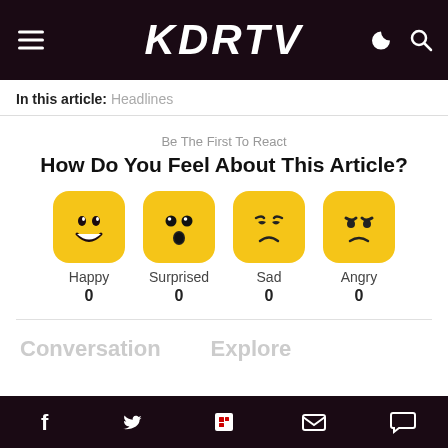KDRTV
In this article: Headlines
Be The First To React
How Do You Feel About This Article?
[Figure (infographic): Four emoji reaction buttons: Happy (0), Surprised (0), Sad (0), Angry (0)]
Conversation   Explore
Social share icons: Facebook, Twitter, Flipboard, Email, Comment